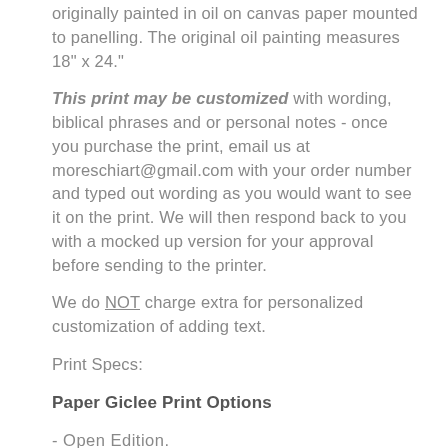originally painted in oil on canvas paper mounted to panelling.  The original oil painting measures 18" x 24."
This print may be customized with wording, biblical phrases and or personal notes - once you purchase the print, email us at moreschiart@gmail.com with your order number and typed out wording as you would want to see it on the print.  We will then respond back to you with a mocked up version for your approval before sending to the printer.
We do NOT charge extra for personalized customization of adding text.
Print Specs:
Paper Giclee Print Options
- Open Edition.
- Printed on high quality acid free fine art photo